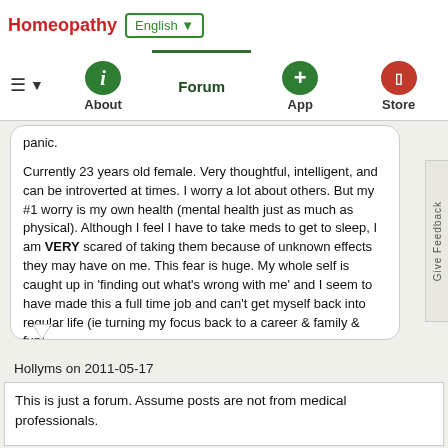Homeopathy  English ▼
About  Forum  App  Store
panic.

Currently 23 years old female. Very thoughtful, intelligent, and can be introverted at times. I worry a lot about others. But my #1 worry is my own health (mental health just as much as physical). Although I feel I have to take meds to get to sleep, I am VERY scared of taking them because of unknown effects they may have on me. This fear is huge. My whole self is caught up in 'finding out what's wrong with me' and I seem to have made this a full time job and can't get myself back into regular life (ie turning my focus back to a career & family & fun).

Not sure what else to say - ask me anything and I'll reply. Thank you
Hollyms on 2011-05-17
This is just a forum. Assume posts are not from medical professionals.